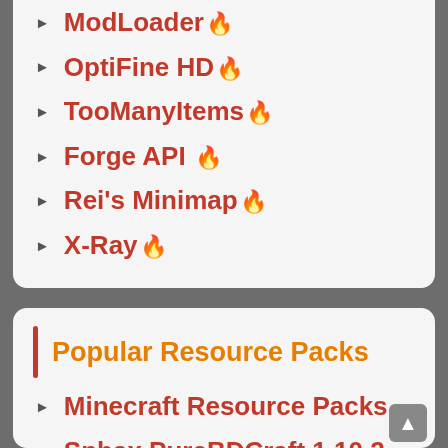ModLoader 🔥
OptiFine HD 🔥
TooManyItems 🔥
Forge API 🔥
Rei's Minimap 🔥
X-Ray 🔥
Popular Resource Packs
Minecraft Resource Packs
Sphax PureBDCraft 1.10.2 🔥